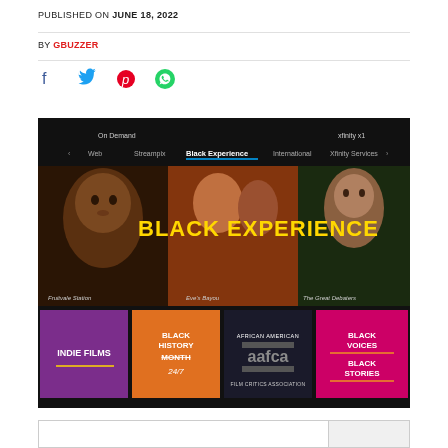PUBLISHED ON JUNE 18, 2022
BY GBUZZER
[Figure (screenshot): Xfinity X1 On Demand interface showing Black Experience channel with movie posters (Fruitvale Station, Eve's Bayou, The Great Debaters) and category tiles: INDIE FILMS, BLACK HISTORY MONTH 24/7, AAFCA, BLACK VOICES BLACK STORIES]
[Figure (other): Partially visible white rectangle/ad box at bottom of page]